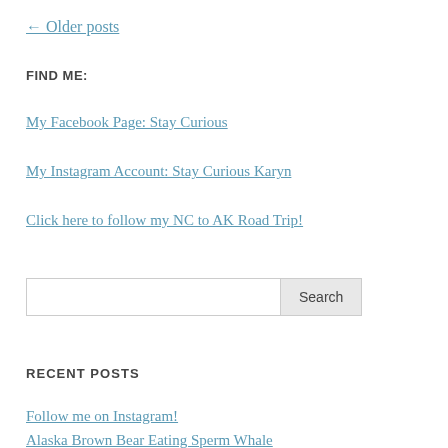← Older posts
FIND ME:
My Facebook Page: Stay Curious
My Instagram Account: Stay Curious Karyn
Click here to follow my NC to AK Road Trip!
[Search input] Search
RECENT POSTS
Follow me on Instagram!
Alaska Brown Bear Eating Sperm Whale